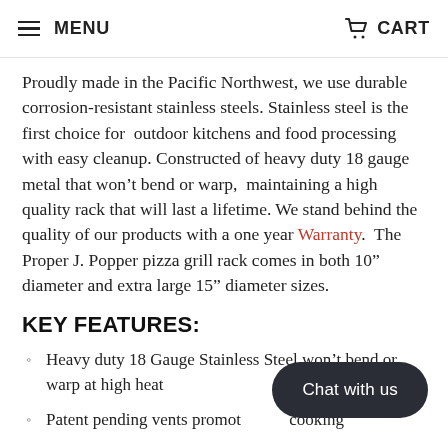MENU  CART
Proudly made in the Pacific Northwest, we use durable corrosion-resistant stainless steels. Stainless steel is the first choice for outdoor kitchens and food processing with easy cleanup. Constructed of heavy duty 18 gauge metal that won't bend or warp, maintaining a high quality rack that will last a lifetime. We stand behind the quality of our products with a one year Warranty.  The Proper J. Popper pizza grill rack comes in both 10” diameter and extra large 15” diameter sizes.
KEY FEATURES:
Heavy duty 18 Gauge Stainless Steel won't bend or warp at high heat
Patent pending vents promote cooking